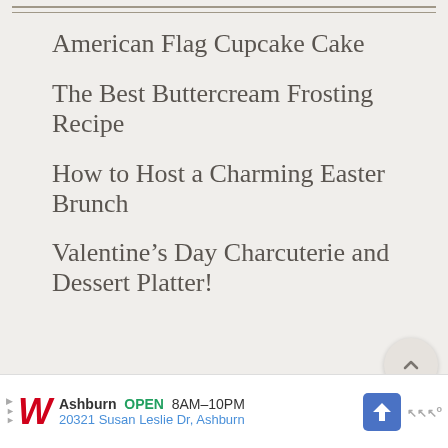American Flag Cupcake Cake
The Best Buttercream Frosting Recipe
How to Host a Charming Easter Brunch
Valentine’s Day Charcuterie and Dessert Platter!
« POPCORN BALLS AND CHOCOLATE DIPPED PRETZELS
ORIGAMI CHRISTMAS TREE